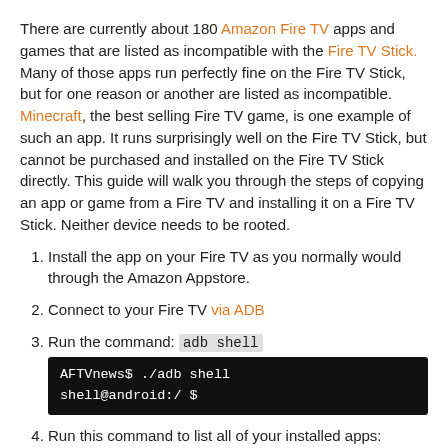There are currently about 180 Amazon Fire TV apps and games that are listed as incompatible with the Fire TV Stick. Many of those apps run perfectly fine on the Fire TV Stick, but for one reason or another are listed as incompatible. Minecraft, the best selling Fire TV game, is one example of such an app. It runs surprisingly well on the Fire TV Stick, but cannot be purchased and installed on the Fire TV Stick directly. This guide will walk you through the steps of copying an app or game from a Fire TV and installing it on a Fire TV Stick. Neither device needs to be rooted.
Install the app on your Fire TV as you normally would through the Amazon Appstore.
Connect to your Fire TV via ADB
Run the command: adb shell
Run this command to list all of your installed apps: pm list packages -3 -f